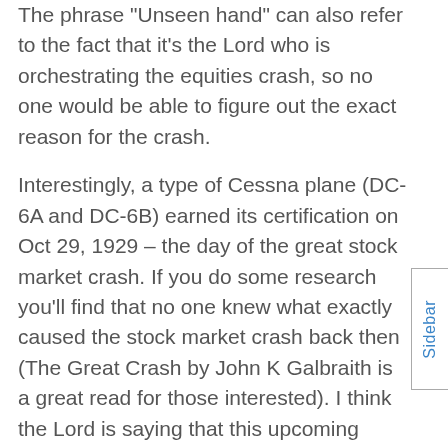The phrase "Unseen hand" can also refer to the fact that it's the Lord who is orchestrating the equities crash, so no one would be able to figure out the exact reason for the crash.
Interestingly, a type of Cessna plane (DC-6A and DC-6B) earned its certification on Oct 29, 1929 – the day of the great stock market crash. If you do some research you'll find that no one knew what exactly caused the stock market crash back then (The Great Crash by John K Galbraith is a great read for those interested). I think the Lord is saying that this upcoming crash will be similar in nature.